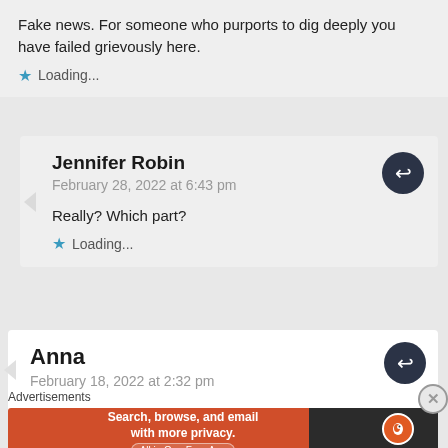Fake news. For someone who purports to dig deeply you have failed grievously here.
Loading...
Jennifer Robin
February 28, 2022 at 6:43 pm
Really? Which part?
Loading...
Anna
February 18, 2022 at 2:32 pm
Advertisements
[Figure (infographic): DuckDuckGo advertisement banner: 'Search, browse, and email with more privacy. All in One Free App' with DuckDuckGo logo on dark background]